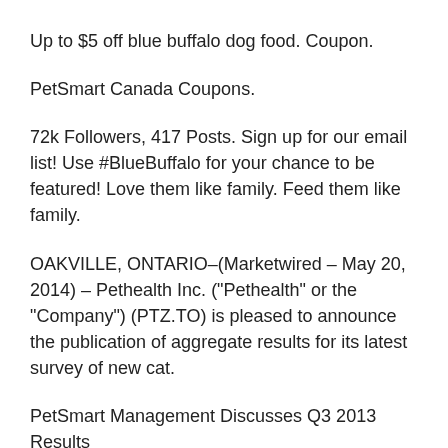Up to $5 off blue buffalo dog food. Coupon.
PetSmart Canada Coupons.
72k Followers, 417 Posts. Sign up for our email list! Use #BlueBuffalo for your chance to be featured! Love them like family. Feed them like family.
OAKVILLE, ONTARIO–(Marketwired – May 20, 2014) – Pethealth Inc. ("Pethealth" or the "Company") (PTZ.TO) is pleased to announce the publication of aggregate results for its latest survey of new cat.
PetSmart Management Discusses Q3 2013 Results